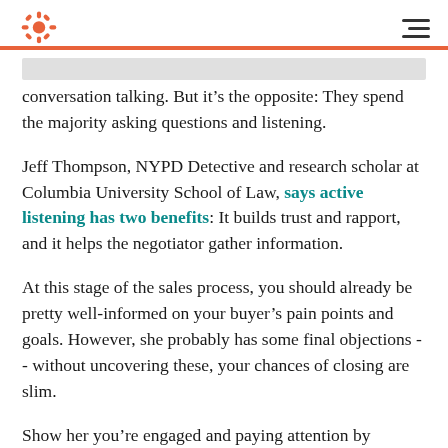HubSpot logo and navigation menu
You might think good negotiators spend most of the conversation talking. But it's the opposite: They spend the majority asking questions and listening.
Jeff Thompson, NYPD Detective and research scholar at Columbia University School of Law, says active listening has two benefits: It builds trust and rapport, and it helps the negotiator gather information.
At this stage of the sales process, you should already be pretty well-informed on your buyer's pain points and goals. However, she probably has some final objections -- without uncovering these, your chances of closing are slim.
Show her you're engaged and paying attention by